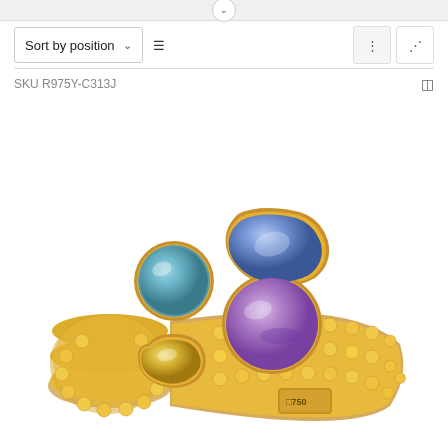Sort by position
SKU R975Y-C313J
[Figure (photo): A gold 750 ring with four colorful gemstones: a round teal/blue topaz, a cushion-cut blue sapphire, a round lavender/purple amethyst, and a cushion-cut yellow/citrine stone. The ring band is made of multiple rows of gold beads. A '750' hallmark is visible on the band.]